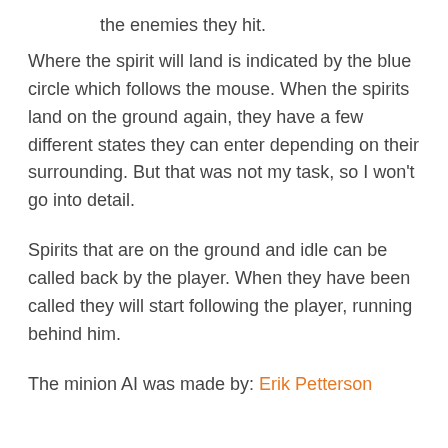the enemies they hit.
Where the spirit will land is indicated by the blue circle which follows the mouse. When the spirits land on the ground again, they have a few different states they can enter depending on their surrounding. But that was not my task, so I won't go into detail.
Spirits that are on the ground and idle can be called back by the player. When they have been called they will start following the player, running behind him.
The minion AI was made by: Erik Petterson